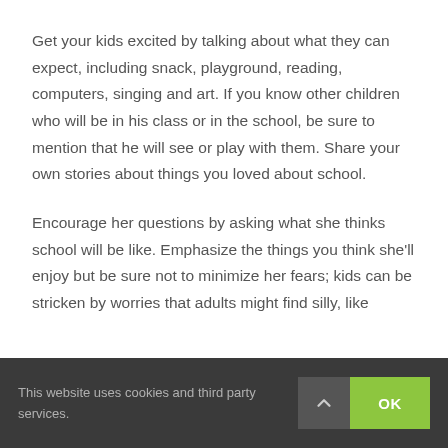Get your kids excited by talking about what they can expect, including snack, playground, reading, computers, singing and art.  If you know other children who will be in his class or in the school, be sure to mention that he will see or play with them.  Share your own stories about things you loved about school.
Encourage her questions by asking what she thinks school will be like.  Emphasize the things you think she'll enjoy but be sure not to minimize her fears; kids can be stricken by worries that adults might find silly, like
This website uses cookies and third party services.